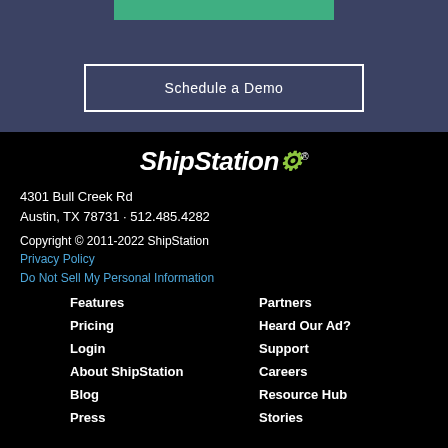[Figure (other): Green bar at top of page, partial CTA button area]
Schedule a Demo
[Figure (logo): ShipStation logo in white italic bold text with green gear icon replacing the 'o' in Station]
4301 Bull Creek Rd
Austin, TX 78731 · 512.485.4282
Copyright © 2011-2022 ShipStation
Privacy Policy
Do Not Sell My Personal Information
Features
Pricing
Login
About ShipStation
Blog
Press
Partners
Heard Our Ad?
Support
Careers
Resource Hub
Stories